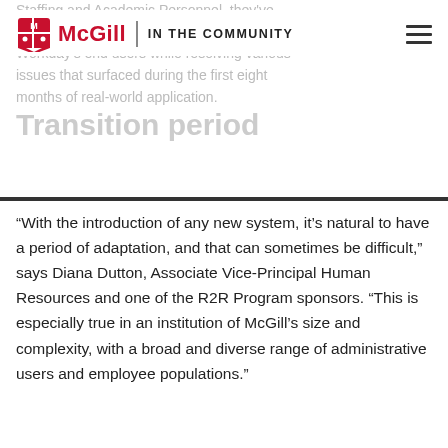Staffing and Academic Personnel, they've been supporting Workday's end users while resolving various issues that surfaced during the first eight months of real-world application.
McGill | IN THE COMMUNITY
Transition period
“With the introduction of any new system, it’s natural to have a period of adaptation, and that can sometimes be difficult,” says Diana Dutton, Associate Vice-Principal Human Resources and one of the R2R Program sponsors. “This is especially true in an institution of McGill’s size and complexity, with a broad and diverse range of administrative users and employee populations.”